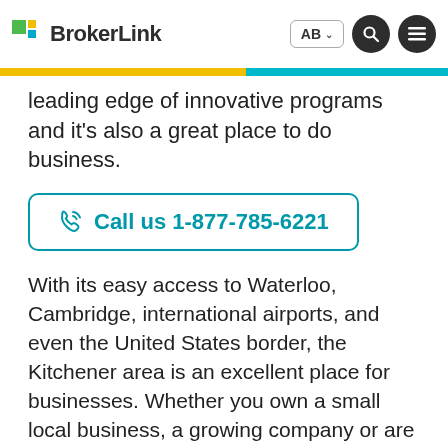BrokerLink — AB ▾ [search] [menu]
leading edge of innovative programs and it's also a great place to do business.
Call us 1-877-785-6221
With its easy access to Waterloo, Cambridge, international airports, and even the United States border, the Kitchener area is an excellent place for businesses. Whether you own a small local business, a growing company or are part of importing and exporting, you'll want to make sure you manage your liabilities with the proper liability insurance